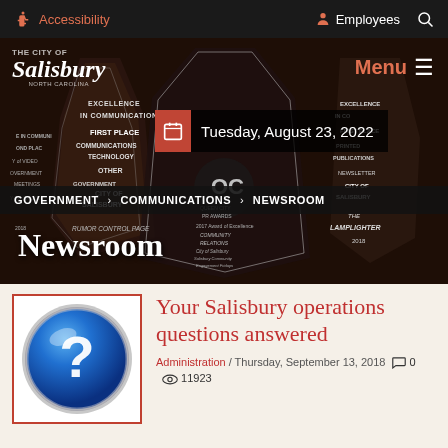Accessibility  Employees  🔍
[Figure (photo): City of Salisbury government website header with crystal award trophies in background, The City of Salisbury North Carolina logo, Menu button, date badge showing Tuesday August 23 2022, breadcrumb navigation GOVERNMENT > COMMUNICATIONS > NEWSROOM, and Newsroom section title]
Your Salisbury operations questions answered
Administration / Thursday, September 13, 2018  💬 0  👁 11923